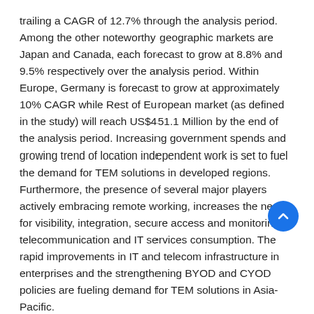trailing a CAGR of 12.7% through the analysis period. Among the other noteworthy geographic markets are Japan and Canada, each forecast to grow at 8.8% and 9.5% respectively over the analysis period. Within Europe, Germany is forecast to grow at approximately 10% CAGR while Rest of European market (as defined in the study) will reach US$451.1 Million by the end of the analysis period. Increasing government spends and growing trend of location independent work is set to fuel the demand for TEM solutions in developed regions. Furthermore, the presence of several major players actively embracing remote working, increases the need for visibility, integration, secure access and monitoring of telecommunication and IT services consumption. The rapid improvements in IT and telecom infrastructure in enterprises and the strengthening BYOD and CYOD policies are fueling demand for TEM solutions in Asia-Pacific.
Managed Services Segment to Reach $1.4 Billion by 2026
Increasingly, enterprises are selecting solutions offered by managed services providers who provide cloud-based telecom expense management, which is mainly dictated by digital